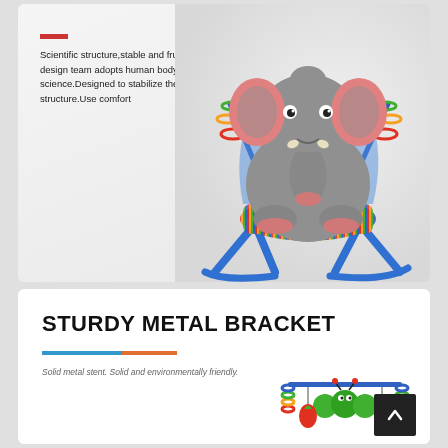[Figure (photo): Baby rocking chair / bouncer with colorful striped fabric, blue metal bracket legs, and a large cartoon elephant character sitting on the seat, with colorful spiral handle toys on the sides. Background is light grey gradient.]
Scientific structure,stable and fruiting. The design team adopts human body science.Designed to stabilize the chair structure.Use comfort
STURDY METAL BRACKET
Solid metal stent. Solid and environmentally friendly.
[Figure (photo): Colorful baby toy bar with caterpillar and hanging toys in red, green, yellow and blue, attached to spiral colored handles.]